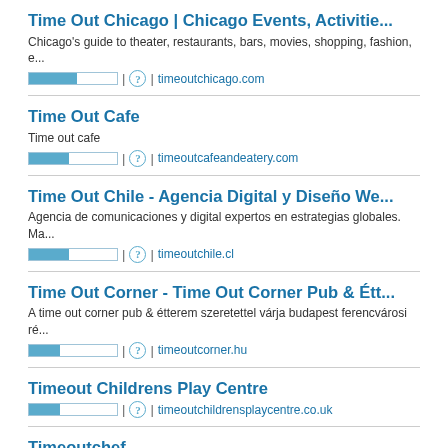Time Out Chicago | Chicago Events, Activitie...
Chicago's guide to theater, restaurants, bars, movies, shopping, fashion, e...
| ? | timeoutchicago.com
Time Out Cafe
Time out cafe
| ? | timeoutcafeandeatery.com
Time Out Chile - Agencia Digital y Diseño We...
Agencia de comunicaciones y digital expertos en estrategias globales. Ma...
| ? | timeoutchile.cl
Time Out Corner - Time Out Corner Pub & Étt...
A time out corner pub & étterem szeretettel várja budapest ferencvárosi ré...
| ? | timeoutcorner.hu
Timeout Childrens Play Centre
| ? | timeoutchildrensplaycentre.co.uk
Timeoutchef
Time out chef delivers individually packaged gourmet meals ready to go in